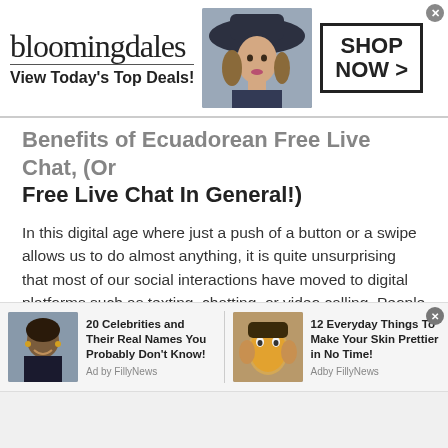[Figure (screenshot): Bloomingdales advertisement banner with logo, model in hat, 'View Today's Top Deals!' text, and 'SHOP NOW >' button]
Benefits of Ecuadorean Free Live Chat, (Or Free Live Chat In General!)
In this digital age where just a push of a button or a swipe allows us to do almost anything, it is quite unsurprising that most of our social interactions have moved to digital platforms such as texting, chatting, or video calling. People who crave connection can log onto Talkwithstranger, a site for Ecuadorean Free Live Chat whenever, and wherever they want.
[Figure (screenshot): Bottom advertisement bar with two ad items: '20 Celebrities and Their Real Names You Probably Don't Know!' with Oprah image, Ad by FillyNews; and '12 Everyday Things To Make Your Skin Prettier in No Time!' with skin care image, Adby FillyNews]